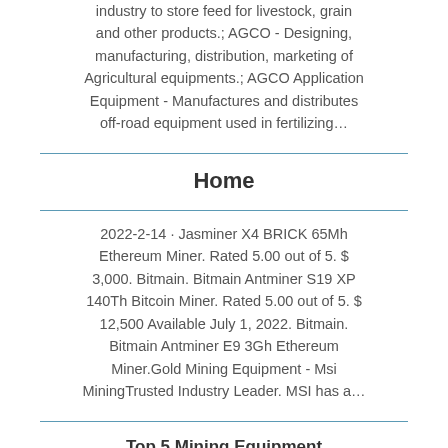industry to store feed for livestock, grain and other products.; AGCO - Designing, manufacturing, distribution, marketing of Agricultural equipments.; AGCO Application Equipment - Manufactures and distributes off-road equipment used in fertilizing...
Home
2022-2-14 · Jasminer X4 BRICK 65Mh Ethereum Miner. Rated 5.00 out of 5. $3,000. Bitmain. Bitmain Antminer S19 XP 140Th Bitcoin Miner. Rated 5.00 out of 5. $12,500 Available July 1, 2022. Bitmain. Bitmain Antminer E9 3Gh Ethereum Miner.Gold Mining Equipment - Msi MiningTrusted Industry Leader. MSI has a...
Top 5 Mining Equipment Manufacturers Across the Globe ...
2018-1-21 · Top 5 Mining Equipment Manufacturers. . is a Japanese multinational